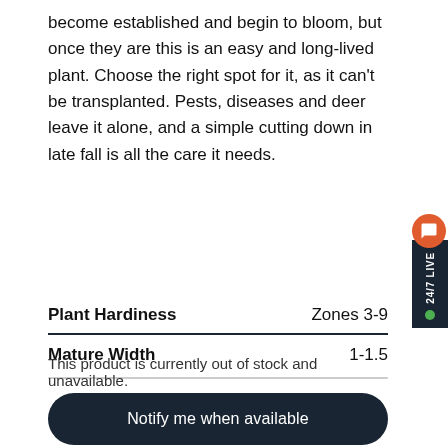become established and begin to bloom, but once they are this is an easy and long-lived plant. Choose the right spot for it, as it can't be transplanted. Pests, diseases and deer leave it alone, and a simple cutting down in late fall is all the care it needs.
|  |  |
| --- | --- |
| Plant Hardiness | Zones 3-9 |
| Mature Width | 1-1.5 |
This product is currently out of stock and unavailable.
Notify me when available